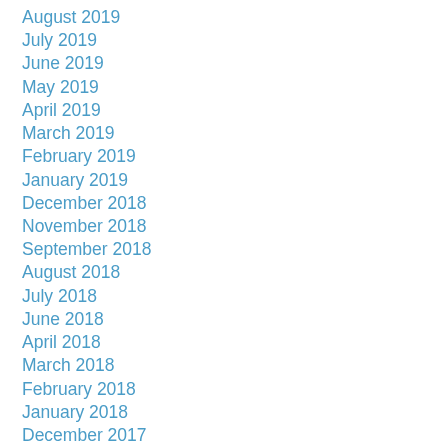August 2019
July 2019
June 2019
May 2019
April 2019
March 2019
February 2019
January 2019
December 2018
November 2018
September 2018
August 2018
July 2018
June 2018
April 2018
March 2018
February 2018
January 2018
December 2017
November 2017
October 2017